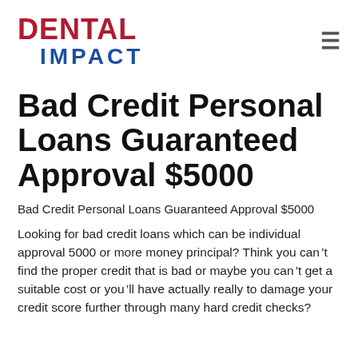DENTAL IMPACT
Bad Credit Personal Loans Guaranteed Approval $5000
Bad Credit Personal Loans Guaranteed Approval $5000
Looking for bad credit loans which can be individual approval 5000 or more money principal? Think you can’t find the proper credit that is bad or maybe you can’t get a suitable cost or you’ll have actually really to damage your credit score further through many hard credit checks?